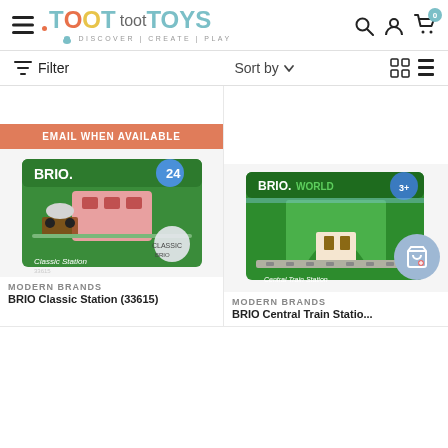[Figure (screenshot): Toot Toot Toys e-commerce website header with logo, hamburger menu, search, account, and cart icons. Cart shows badge with 0. My Wishlist tab on right side.]
Filter
Sort by
[Figure (photo): BRIO Classic Station toy product box (green packaging, item 33615)]
EMAIL WHEN AVAILABLE
[Figure (photo): BRIO Central Train Station toy product box (green packaging, BRIO World)]
MODERN BRANDS
BRIO Classic Station (33615)
MODERN BRANDS
BRIO Central Train Statio...